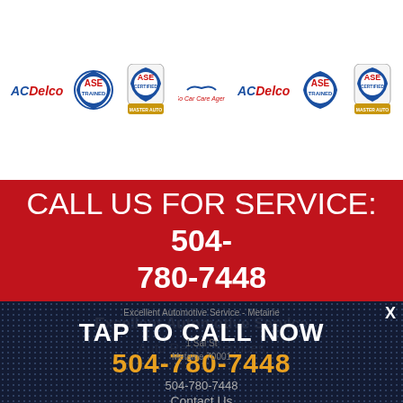[Figure (logo): Row of automotive certification logos: ACDelco, ASE Trained, ASE Certified/Master Auto Technician, So Car Care Agent, ACDelco, ASE Trained, ASE Certified/Master Auto Technician]
CALL US FOR SERVICE: 504-780-7448
Excellent Automotive Service
Auto Repair Services
Excellent Automotive Service - Metairie
TAP TO CALL NOW
504-780-7448
1 Sal St
Metairie 70001
504-780-7448
Contact Us